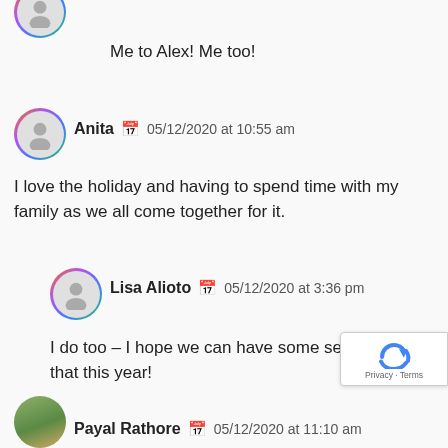[Figure (illustration): Partial avatar icon at top, rainbow gradient border, grey silhouette]
Me to Alex! Me too!
[Figure (illustration): Avatar icon with rainbow gradient border and grey person silhouette for user Anita]
Anita   05/12/2020 at 10:55 am
I love the holiday and having to spend time with my family as we all come together for it.
[Figure (illustration): Avatar icon with rainbow gradient border and grey person silhouette for user Lisa Alioto]
Lisa Alioto   05/12/2020 at 3:36 pm
I do too – I hope we can have some semblance of that this year!
[Figure (illustration): reCAPTCHA privacy badge bottom right]
[Figure (photo): Partial avatar photo for user Payal Rathore]
Payal Rathore   05/12/2020 at 11:10 am